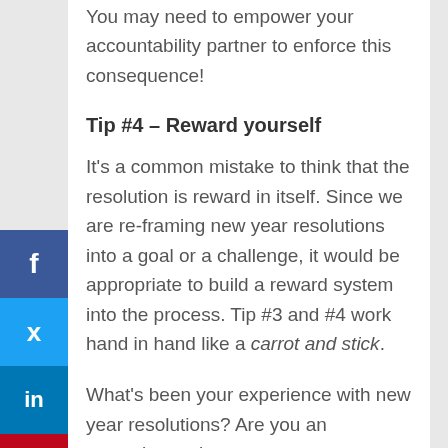You may need to empower your accountability partner to enforce this consequence!
Tip #4 – Reward yourself
It's a common mistake to think that the resolution is reward in itself.  Since we are re-framing new year resolutions into a goal or a challenge, it would be appropriate to build a reward system into the process.  Tip #3 and #4 work hand in hand like a carrot and stick.
What's been your experience with new year resolutions?  Are you an exception to the